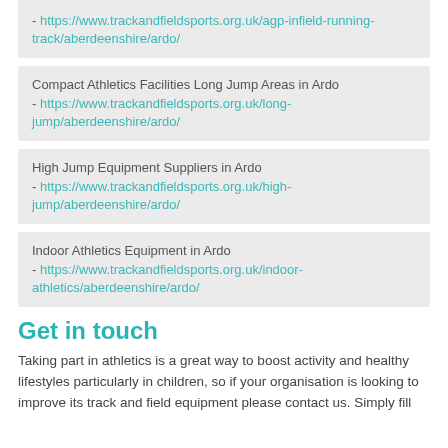- https://www.trackandfieldsports.org.uk/agp-infield-running-track/aberdeenshire/ardo/
Compact Athletics Facilities Long Jump Areas in Ardo - https://www.trackandfieldsports.org.uk/long-jump/aberdeenshire/ardo/
High Jump Equipment Suppliers in Ardo - https://www.trackandfieldsports.org.uk/high-jump/aberdeenshire/ardo/
Indoor Athletics Equipment in Ardo - https://www.trackandfieldsports.org.uk/indoor-athletics/aberdeenshire/ardo/
Get in touch
Taking part in athletics is a great way to boost activity and healthy lifestyles particularly in children, so if your organisation is looking to improve its track and field equipment please contact us. Simply fill